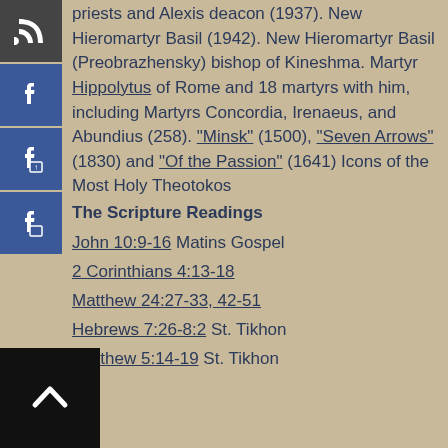[Figure (infographic): Sidebar with four dark square icons: RSS feed, Facebook, Facebook share, Facebook copy]
priests and Alexis deacon (1937). New Hieromartyr Basil (1942). New Hieromartyr Basil (Preobrazhensky) bishop of Kineshma. Martyr Hippolytus of Rome and 18 martyrs with him, including Martyrs Concordia, Irenaeus, and Abundius (258). "Minsk" (1500), "Seven Arrows" (1830) and "Of the Passion" (1641) Icons of the Most Holy Theotokos
The Scripture Readings
John 10:9-16 Matins Gospel
2 Corinthians 4:13-18
Matthew 24:27-33, 42-51
Hebrews 7:26-8:2 St. Tikhon
Matthew 5:14-19 St. Tikhon
[Figure (other): Black square back-to-top button with white chevron/caret up arrow]